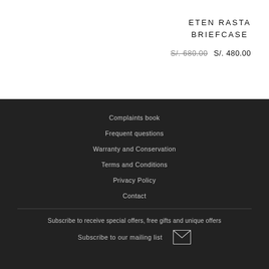ETEN RASTA BRIEFCASE
S/. 680.00  S/. 480.00
Complaints book
Frequent questions
Warranty and Conservation
Terms and Conditions
Privacy Policy
Contact
Subscribe to receive special offers, free gifts and unique offers
Subscribe to our mailing list